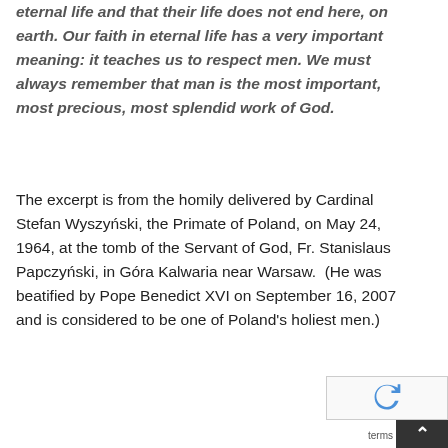eternal life and that their life does not end here, on earth. Our faith in eternal life has a very important meaning: it teaches us to respect men. We must always remember that man is the most important, most precious, most splendid work of God.
The excerpt is from the homily delivered by Cardinal Stefan Wyszyński, the Primate of Poland, on May 24, 1964, at the tomb of the Servant of God, Fr. Stanislaus Papczyński, in Góra Kalwaria near Warsaw.  (He was beatified by Pope Benedict XVI on September 16, 2007 and is considered to be one of Poland's holiest men.)